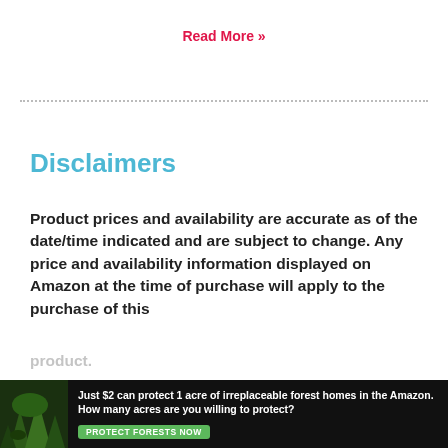Read More »
Disclaimers
Product prices and availability are accurate as of the date/time indicated and are subject to change. Any price and availability information displayed on Amazon at the time of purchase will apply to the purchase of this
[Figure (screenshot): Cookie consent banner with a bell icon and close X button on a light teal background, reading: 'This website uses cookies to ensure you get the best experience on our website.']
[Figure (infographic): Advertisement banner: dark background with forest image on left. Text reads 'Just $2 can protect 1 acre of irreplaceable forest homes in the Amazon. How many acres are you willing to protect?' with a green 'PROTECT FORESTS NOW' button.]